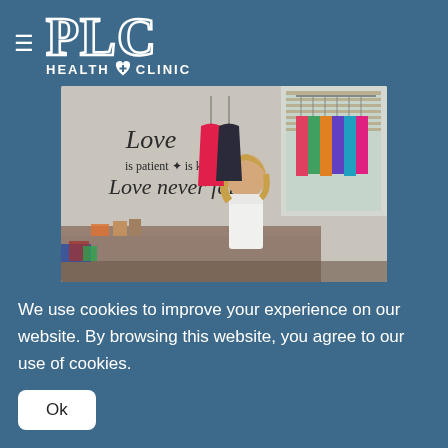[Figure (logo): PLC Health Clinic logo with hamburger menu icon on teal/steel blue background]
[Figure (photo): Interior of a clinic/boutique room with a woman standing behind a counter, children's clothes on hangers, and a wall decal reading 'Love is patient + is kind, Love never fails']
We use cookies to improve your experience on our website. By browsing this website, you agree to our use of cookies.
Ok